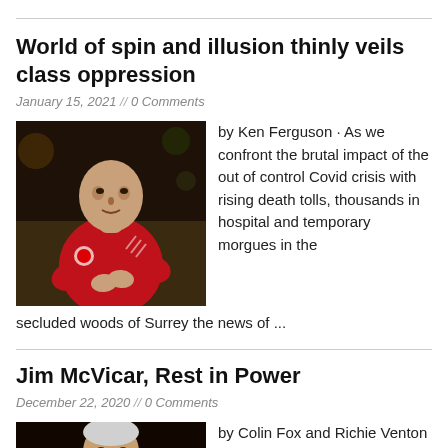World of spin and illusion thinly veils class oppression
January 15, 2021 // 0 Comments
[Figure (photo): A footballer in a red jersey clapping, photographed in a stadium setting]
by Ken Ferguson · As we confront the brutal impact of the out of control Covid crisis with rising death tolls, thousands in hospital and temporary morgues in the secluded woods of Surrey the news of ...
Jim McVicar, Rest in Power
December 22, 2020 // 0 Comments
[Figure (photo): A person photographed against a dark background]
by Colin Fox and Richie Venton · We feel enormous